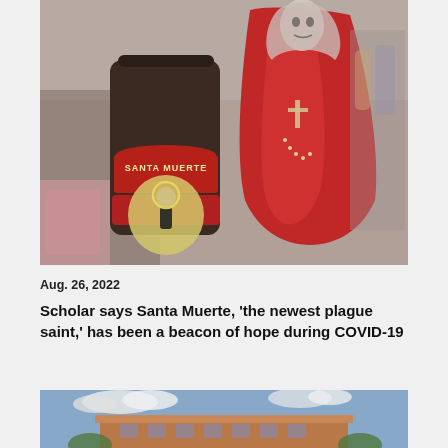[Figure (photo): Photo of a Santa Muerte candle jar with a label showing a skeletal saint figure in a halo, alongside a red robed Santa Muerte figurine/statue, with store shelves blurred in the background.]
Aug. 26, 2022
Scholar says Santa Muerte, 'the newest plague saint,' has been a beacon of hope during COVID-19
[Figure (photo): Partial photo of a brick building with a blue sky and clouds in the background, partially cropped at the bottom of the page.]